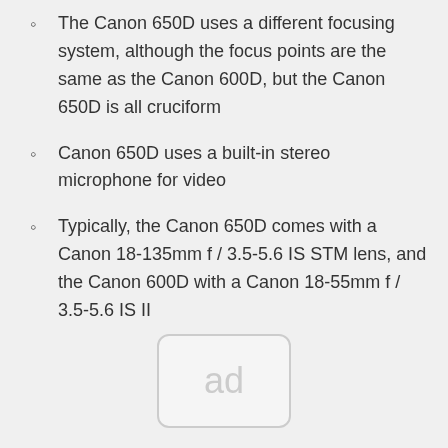The Canon 650D uses a different focusing system, although the focus points are the same as the Canon 600D, but the Canon 650D is all cruciform
Canon 650D uses a built-in stereo microphone for video
Typically, the Canon 650D comes with a Canon 18-135mm f / 3.5-5.6 IS STM lens, and the Canon 600D with a Canon 18-55mm f / 3.5-5.6 IS II
[Figure (other): Ad placeholder box with text 'ad']